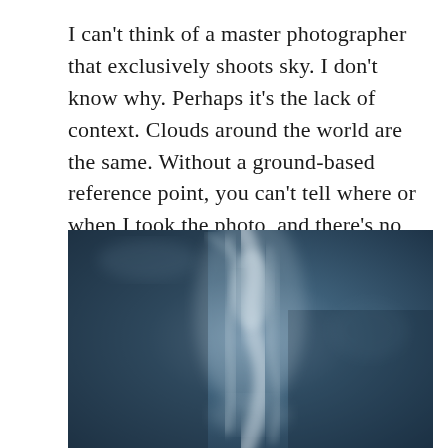I can't think of a master photographer that exclusively shoots sky. I don't know why. Perhaps it's the lack of context. Clouds around the world are the same. Without a ground-based reference point, you can't tell where or when I took the photo, and there's no sense of scale because clouds come in all sizes.
[Figure (photo): A moody photograph of a dark blue-grey sky with wispy white cloud formations swirling in the center of the frame.]